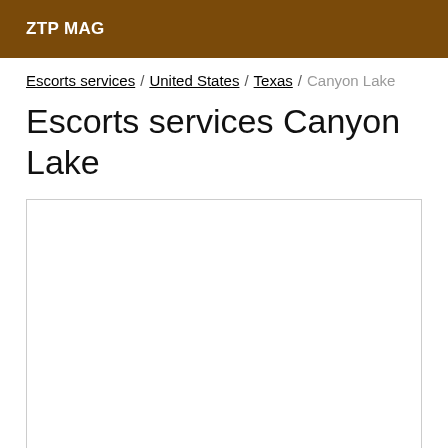ZTP MAG
Escorts services / United States / Texas / Canyon Lake
Escorts services Canyon Lake